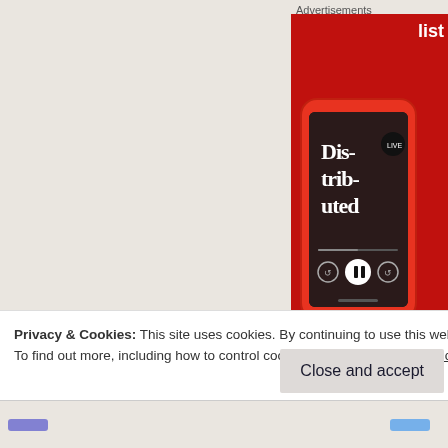Advertisements
[Figure (photo): Advertisement banner showing a smartphone displaying a podcast app with 'Dis-trib-uted' text on a red background, with 'list' text visible on the right side and a podcast app logo at bottom right]
After all, crying now is like climbing a tree—but o
Privacy & Cookies: This site uses cookies. By continuing to use this website, you agree to their use.
To find out more, including how to control cookies, see here: Cookie Policy
Close and accept